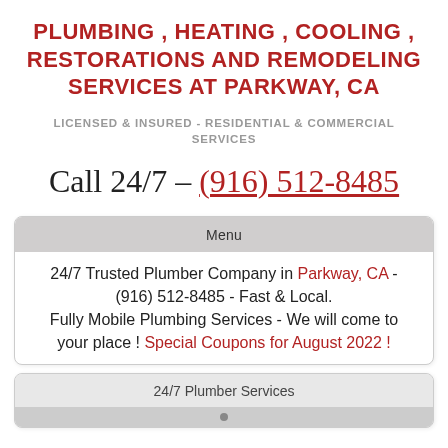PLUMBING , HEATING , COOLING , RESTORATIONS AND REMODELING SERVICES AT PARKWAY, CA
LICENSED & INSURED - RESIDENTIAL & COMMERCIAL SERVICES
Call 24/7 - (916) 512-8485
Menu
24/7 Trusted Plumber Company in Parkway, CA - (916) 512-8485 - Fast & Local. Fully Mobile Plumbing Services - We will come to your place ! Special Coupons for August 2022 !
24/7 Plumber Services